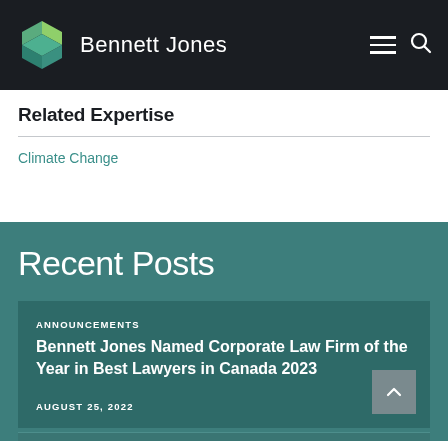[Figure (logo): Bennett Jones law firm logo with geometric teal/green cube icon and white wordmark on dark background]
Related Expertise
Climate Change
Recent Posts
ANNOUNCEMENTS
Bennett Jones Named Corporate Law Firm of the Year in Best Lawyers in Canada 2023
AUGUST 25, 2022